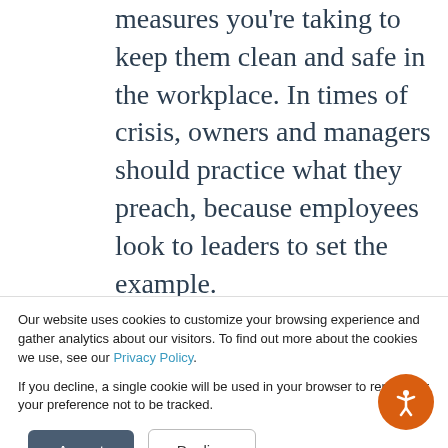measures you're taking to keep them clean and safe in the workplace. In times of crisis, owners and managers should practice what they preach, because employees look to leaders to set the example.
Workers also appreciate honesty. So, inform them as soon as possible if layoffs are coming, benefits are being scaled back or bonuses won't be paid this year.
Our website uses cookies to customize your browsing experience and gather analytics about our visitors. To find out more about the cookies we use, see our Privacy Policy.

If you decline, a single cookie will be used in your browser to remember your preference not to be tracked.
[Figure (other): Cookie consent dialog with Accept and Decline buttons, and an orange accessibility icon button in the bottom right corner.]